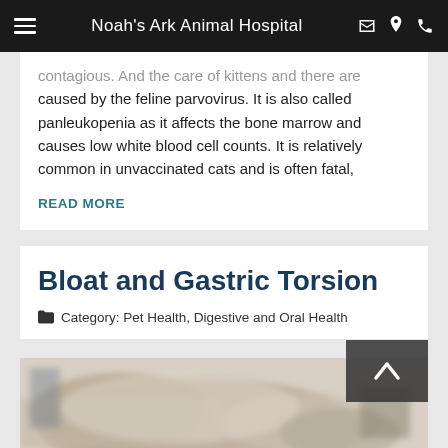Noah's Ark Animal Hospital
caused by the feline parvovirus. It is also called panleukopenia as it affects the bone marrow and causes low white blood cell counts. It is relatively common in unvaccinated cats and is often fatal,
READ MORE
Bloat and Gastric Torsion
Category: Pet Health, Digestive and Oral Health
[Figure (photo): Blurred photo of a dog lying down, viewed from above, with a light-colored background suggesting a clinical or home setting.]